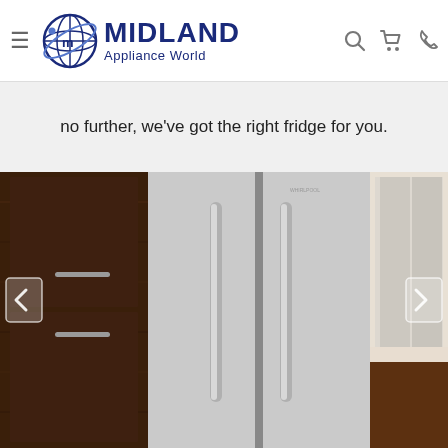Midland Appliance World — navigation header with logo, hamburger menu, search, cart, and phone icons
no further, we've got the right fridge for you.
[Figure (photo): A stainless steel side-by-side refrigerator with tall vertical bar handles, set against dark wood cabinetry in a modern kitchen. Left navigation arrow and right navigation arrow are visible.]